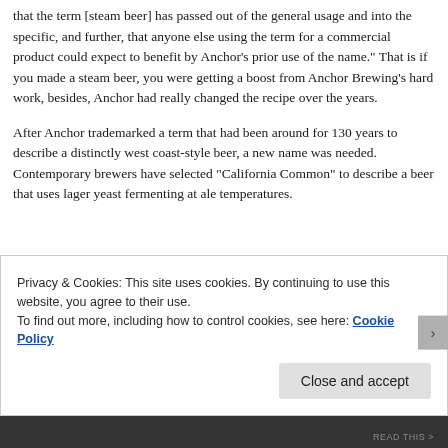that the term [steam beer] has passed out of the general usage and into the specific, and further, that anyone else using the term for a commercial product could expect to benefit by Anchor's prior use of the name." That is if you made a steam beer, you were getting a boost from Anchor Brewing's hard work, besides, Anchor had really changed the recipe over the years.
After Anchor trademarked a term that had been around for 130 years to describe a distinctly west coast-style beer, a new name was needed. Contemporary brewers have selected “California Common” to describe a beer that uses lager yeast fermenting at ale temperatures.
Privacy & Cookies: This site uses cookies. By continuing to use this website, you agree to their use.
To find out more, including how to control cookies, see here: Cookie Policy